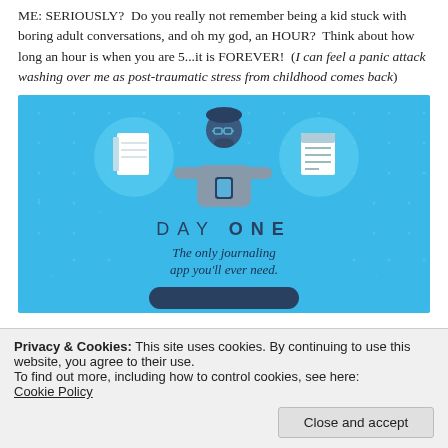ME: SERIOUSLY?  Do you really not remember being a kid stuck with boring adult conversations, and oh my god, an HOUR?  Think about how long an hour is when you are 5...it is FOREVER!  (I can feel a panic attack washing over me as post-traumatic stress from childhood comes back)
[Figure (illustration): Day One journaling app advertisement. Blue background with a cartoon figure of a person holding a phone, flanked by icons of a notebook and a lined document. Text reads 'DAY ONE' and 'The only journaling app you'll ever need.' with a button at the bottom.]
Privacy & Cookies: This site uses cookies. By continuing to use this website, you agree to their use.
To find out more, including how to control cookies, see here:
Cookie Policy